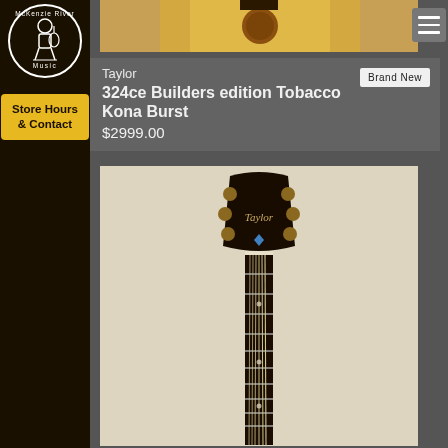[Figure (logo): McKenzie River Music circular logo with musician figure]
Store Hours & Contact
[Figure (photo): Top portion of acoustic guitar body showing spruce top]
[Figure (other): Hamburger menu icon]
Taylor
324ce Builders edition Tobacco Kona Burst
$2999.00
Brand New
[Figure (photo): Taylor guitar headstock and neck fretboard in dark finish with gold tuners]